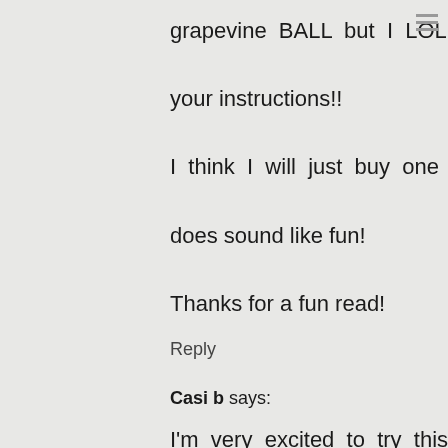grapevine BALL but I LOL at your instructions!! I think I will just buy one but it does sound like fun! Thanks for a fun read!
Reply
Casi b says:
I'm very excited to try this out this weekend! I am wondering if